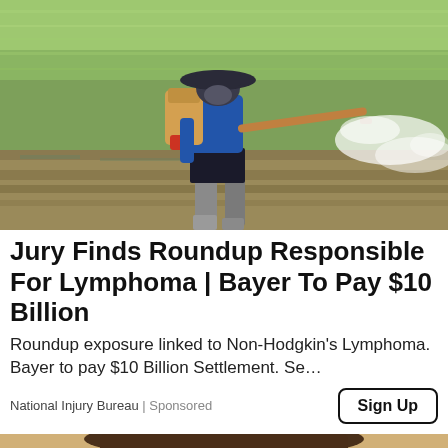[Figure (photo): Agricultural worker wearing a blue long-sleeve shirt, dark shorts, boots and wide-brim hat, carrying a backpack sprayer, spraying pesticide over a green rice paddy field. A white mist of spray is visible extending to the right.]
Jury Finds Roundup Responsible For Lymphoma | Bayer To Pay $10 Billion
Roundup exposure linked to Non-Hodgkin's Lymphoma. Bayer to pay $10 Billion Settlement. Se...
National Injury Bureau | Sponsored
[Figure (photo): Partial view of a person wearing a wide-brim hat, visible from the top of the head, against a sandy/rocky background. Cropped image showing only the hat and upper face area.]